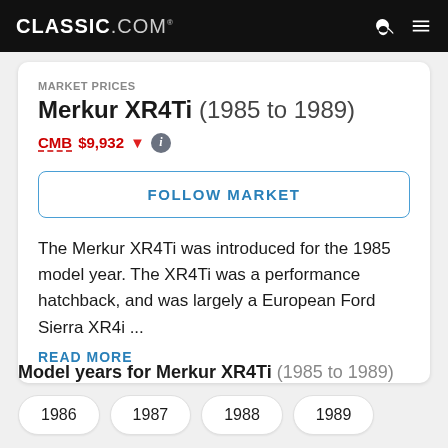CLASSIC.COM
MARKET PRICES
Merkur XR4Ti (1985 to 1989)
CMB $9,932 ↓
FOLLOW MARKET
The Merkur XR4Ti was introduced for the 1985 model year. The XR4Ti was a performance hatchback, and was largely a European Ford Sierra XR4i ...
READ MORE
Model years for Merkur XR4Ti (1985 to 1989)
1986
1987
1988
1989